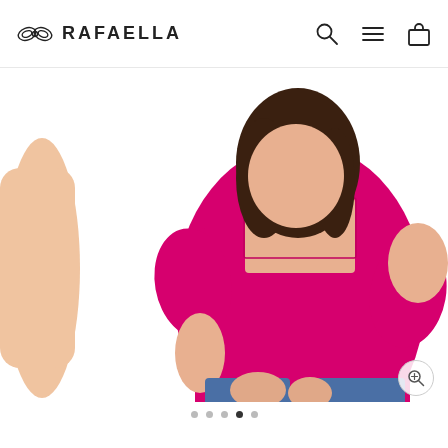RAFAELLA
[Figure (photo): A woman wearing a bright pink/fuchsia square-neck short-sleeve top paired with blue jeans. A partial view of a second model is visible at the left edge. The Rafaella brand e-commerce product page screenshot.]
Navigation dots — 5 dots, 4th dot active